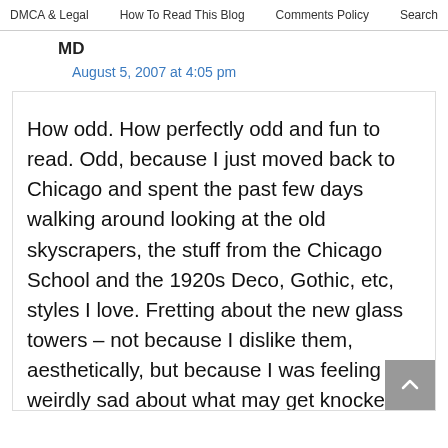DMCA & Legal  |  How To Read This Blog  |  Comments Policy  |  Search
MD
August 5, 2007 at 4:05 pm
How odd. How perfectly odd and fun to read. Odd, because I just moved back to Chicago and spent the past few days walking around looking at the old skyscrapers, the stuff from the Chicago School and the 1920s Deco, Gothic, etc, styles I love. Fretting about the new glass towers – not because I dislike them, aesthetically, but because I was feeling weirdly sad about what may get knocked down to put up said glassy towers. I guess most of the stuff that I love from that period is a designated historical landmark